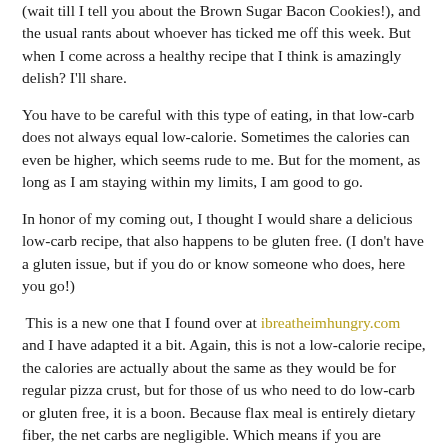(wait till I tell you about the Brown Sugar Bacon Cookies!), and the usual rants about whoever has ticked me off this week.  But when I come across a healthy recipe that I think is amazingly delish?  I'll share.
You have to be careful with this type of eating, in that low-carb does not always equal low-calorie.  Sometimes the calories can even be higher, which seems rude to me.  But for the moment, as long as I am staying within my limits, I am good to go.
In honor of my coming out, I thought I would share a delicious low-carb recipe, that also happens to be gluten free.  (I don't have a gluten issue, but if you do or know someone who does, here you go!)
This is a new one that I found over at ibreatheimhungry.com and I have adapted it a bit.  Again, this is not a low-calorie recipe, the calories are actually about the same as they would be for regular pizza crust, but for those of us who need to do low-carb or gluten free, it is a boon.  Because flax meal is entirely dietary fiber, the net carbs are negligible.  Which means if you are craving pizza in that “I want to eat a WHOLE pizza” way and not the “I am fine